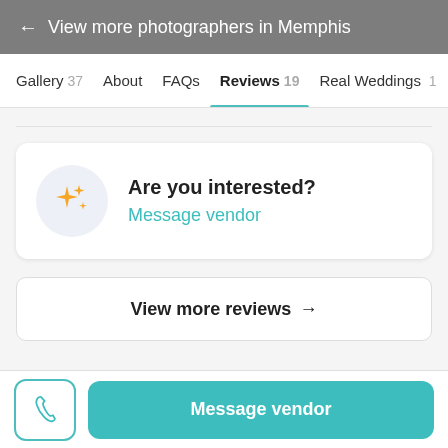← View more photographers in Memphis
Gallery 37  About  FAQs  Reviews 19  Real Weddings 1
Are you interested?
Message vendor
View more reviews →
Message vendor